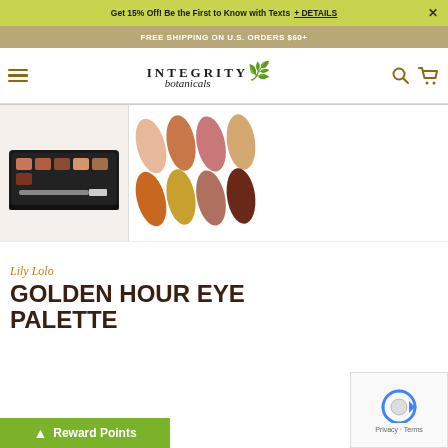Get 15% Off! Be the First to Know with Texts + DETAILS
FREE SHIPPING ON U.S. ORDERS $60+
INTEGRITY botanicals — navigation header with hamburger menu, logo, search and cart icons
[Figure (photo): Lily Lolo Golden Hour Eye Palette product image showing a compact with 6 warm-toned eyeshadows and an applicator brush]
[Figure (photo): Color swatches showing 8 warm-toned eyeshadow shades in two rows: peach, copper, mauve, champagne (top row) and burnt orange, gold, rose-brown, dark chocolate (bottom row)]
Lily Lolo
GOLDEN HOUR EYE PALETTE
Reward Points